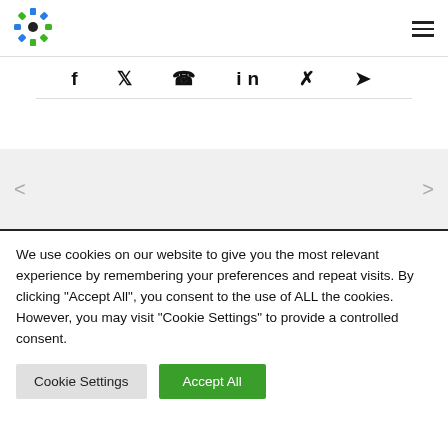[Figure (logo): Gear/settings icon logo with blue and green colors]
[Figure (other): Hamburger menu icon (three horizontal lines)]
f  y  ⊕  in  ✗  ✈
[Figure (other): Slider/carousel navigation with left < and right > arrows on gray background]
We use cookies on our website to give you the most relevant experience by remembering your preferences and repeat visits. By clicking "Accept All", you consent to the use of ALL the cookies. However, you may visit "Cookie Settings" to provide a controlled consent.
Cookie Settings
Accept All